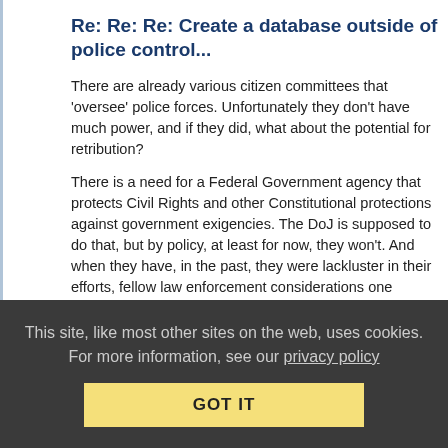Re: Re: Re: Create a database outside of police control...
There are already various citizen committees that 'oversee' police forces. Unfortunately they don't have much power, and if they did, what about the potential for retribution?
There is a need for a Federal Government agency that protects Civil Rights and other Constitutional protections against government exigencies. The DoJ is supposed to do that, but by policy, at least for now, they won't. And when they have, in the past, they were lackluster in their efforts, fellow law enforcement considerations one presumes, but there may be other reasons for their failure to do their jobs.
The effort needs to be attributed with significant power. Power
This site, like most other sites on the web, uses cookies. For more information, see our privacy policy
GOT IT